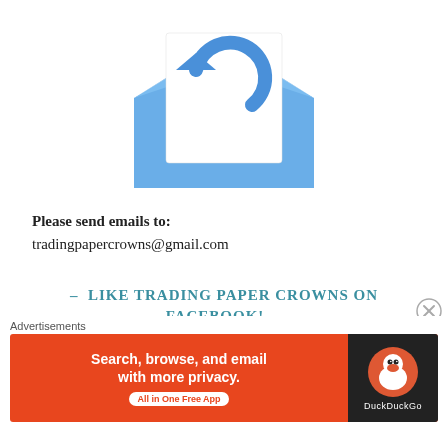[Figure (illustration): An open blue envelope with a white letter/document inside showing a blue circular reply/refresh arrow icon]
Please send emails to:
tradingpapercrowns@gmail.com
- LIKE TRADING PAPER CROWNS ON FACEBOOK! -
Advertisements
[Figure (other): DuckDuckGo advertisement banner: 'Search, browse, and email with more privacy. All in One Free App' on orange background with DuckDuckGo duck logo on dark background]